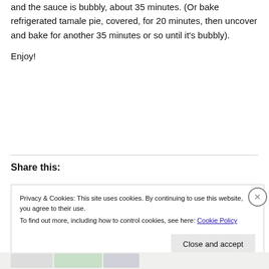and the sauce is bubbly, about 35 minutes. (Or bake refrigerated tamale pie, covered, for 20 minutes, then uncover and bake for another 35 minutes or so until it's bubbly).
Enjoy!
Share this:
Privacy & Cookies: This site uses cookies. By continuing to use this website, you agree to their use.
To find out more, including how to control cookies, see here: Cookie Policy
Close and accept